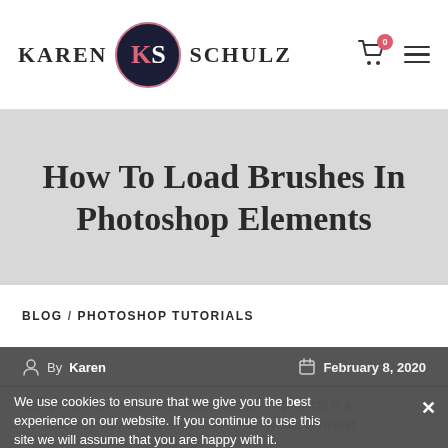[Figure (logo): Karen Schulz logo with KS monogram in dark navy circle with pink border]
How To Load Brushes In Photoshop Elements
BLOG / PHOTOSHOP TUTORIALS
By Karen   February 8, 2020
We use cookies to ensure that we give you the best experience on our website. If you continue to use this site we will assume that you are happy with it.
Using brushes on digital scrapbook pages or projects is a fun and easy way to add extra interest to layouts or hybrid